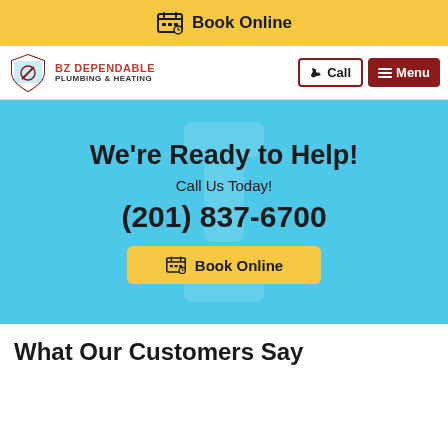Book Online
[Figure (logo): BZ Dependable Plumbing & Heating logo with shield emblem, Call button, and Menu button]
We're Ready to Help!
Call Us Today!
(201) 837-6700
Book Online
What Our Customers Say